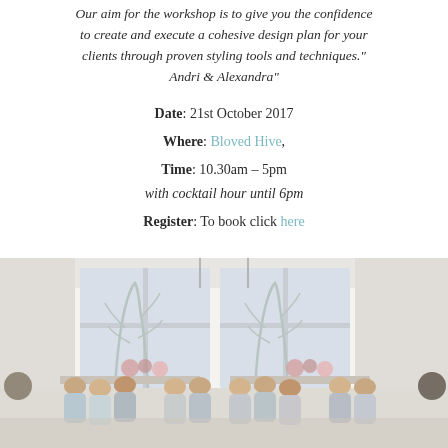to create and execute a cohesive design plan for your clients through proven styling tools and techniques." Andri & Alexandra"
Date: 21st October 2017
Where: Bloved Hive,
Time: 10.30am – 5pm
with cocktail hour until 6pm
Register: To book click here
[Figure (photo): A bright white studio room with large windows, people seated around tables with floral centerpieces, attending a workshop event.]